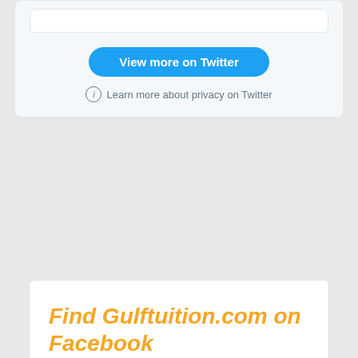[Figure (screenshot): Twitter widget embed showing a 'View more on Twitter' blue rounded button and a privacy notice with info icon reading 'Learn more about privacy on Twitter']
Find Gulftuition.com on Facebook
We are offering Online tutoring, Assignment